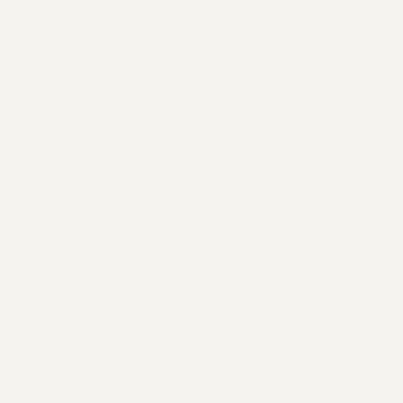| No | Gift 1: non-stick pudding pan | Gift 2: daisy pa |
| --- | --- | --- |
| 1 | Aunty Young | Cat |
| 2 | Little Blue | Jozely |
| 3 | 僅夫人 | Ann |
| 4 | Sonia | Hippoma |
| 5 | Xing hui | The Swee |
| 6 | Lena | Eilee |
| 7 | mf low | Small Sm |
| 8 | Jaclyn Thang | ykri |
| 9 | Shely | ling yue |
| 10 | Mui Mui | Crumbs |
| 11 | Kerry santillo | Sema |
| 12 | Natalie Stoute | Yumb |
| 13 | Cheryl Dyer | Li Sh |
| 14 | Melissalee | Cecilia |
| 15 | Julie Bennett | Kit W |
| 16 | Judith | Cece |
| 17 |  | Jay |
| 18 |  | Smi |
| 19 |  | Mix |
| 20 |  | Kim |
| 21 |  | Edit |
| 22 |  | Vivian |
| 23 |  | Nig |
| 24 |  | Imp |
| 25 |  | Angi |
| 26 |  | Irene |
| 27 |  | Vero |
| 28 |  | May |
| 29 |  | Jes |
| 30 |  | Sama |